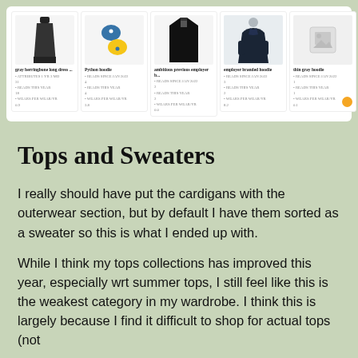[Figure (screenshot): A product grid showing 5 clothing items: gray herringbone long dress, Python hoodie, ambitious previous employer hoodie, employer branded hoodie, and thin gray hoodie. Each card has an image thumbnail, title, and small metadata text.]
Tops and Sweaters
I really should have put the cardigans with the outerwear section, but by default I have them sorted as a sweater so this is what I ended up with.
While I think my tops collections has improved this year, especially wrt summer tops, I still feel like this is the weakest category in my wardrobe. I think this is largely because I find it difficult to shop for actual tops (not